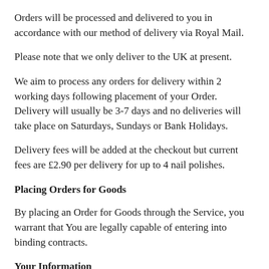Orders will be processed and delivered to you in accordance with our method of delivery via Royal Mail.
Please note that we only deliver to the UK at present.
We aim to process any orders for delivery within 2 working days following placement of your Order. Delivery will usually be 3-7 days and no deliveries will take place on Saturdays, Sundays or Bank Holidays.
Delivery fees will be added at the checkout but current fees are £2.90 per delivery for up to 4 nail polishes.
Placing Orders for Goods
By placing an Order for Goods through the Service, you warrant that You are legally capable of entering into binding contracts.
Your Information
If You wish to place an Order for Goods available on the Service, you may be asked to supply certain information relevant to Your Order…